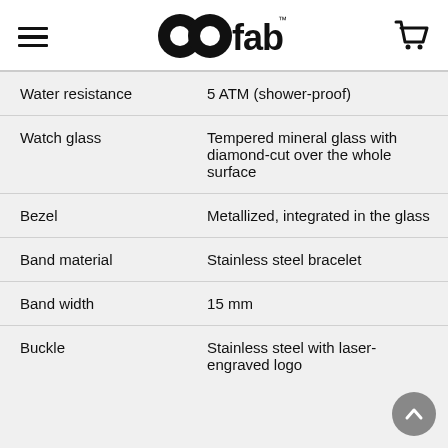99fab logo with hamburger menu and cart icon
| Property | Value |
| --- | --- |
| Water resistance | 5 ATM (shower-proof) |
| Watch glass | Tempered mineral glass with diamond-cut over the whole surface |
| Bezel | Metallized, integrated in the glass |
| Band material | Stainless steel bracelet |
| Band width | 15 mm |
| Buckle | Stainless steel with laser-engraved logo |